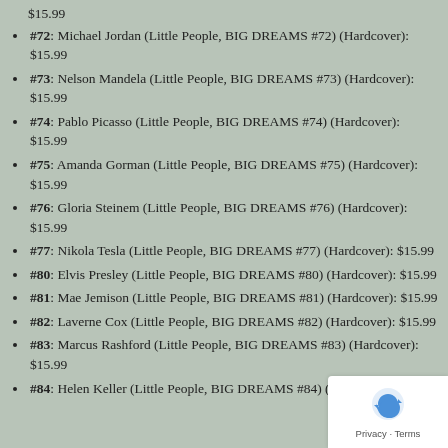$15.99
#72: Michael Jordan (Little People, BIG DREAMS #72) (Hardcover): $15.99
#73: Nelson Mandela (Little People, BIG DREAMS #73) (Hardcover): $15.99
#74: Pablo Picasso (Little People, BIG DREAMS #74) (Hardcover): $15.99
#75: Amanda Gorman (Little People, BIG DREAMS #75) (Hardcover): $15.99
#76: Gloria Steinem (Little People, BIG DREAMS #76) (Hardcover): $15.99
#77: Nikola Tesla (Little People, BIG DREAMS #77) (Hardcover): $15.99
#80: Elvis Presley (Little People, BIG DREAMS #80) (Hardcover): $15.99
#81: Mae Jemison (Little People, BIG DREAMS #81) (Hardcover): $15.99
#82: Laverne Cox (Little People, BIG DREAMS #82) (Hardcover): $15.99
#83: Marcus Rashford (Little People, BIG DREAMS #83) (Hardcover): $15.99
#84: Helen Keller (Little People, BIG DREAMS #84) (Hardcover):